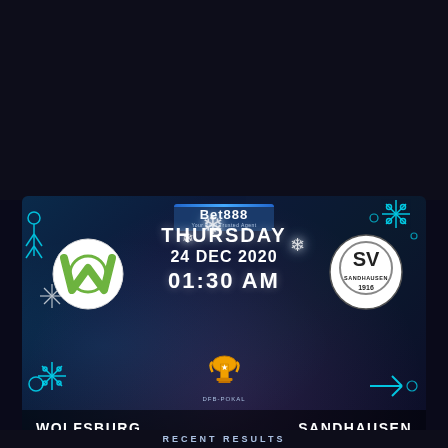[Figure (infographic): Football match preview card for Wolfsburg vs Sandhausen, DFB-Pokal, Thursday 24 Dec 2020 01:30 AM. Sponsored by Bet888. Features club logos, neon winter decorations, snowflakes, and team names at the bottom. Background is dark blue with bokeh lighting effects.]
RECENT RESULTS